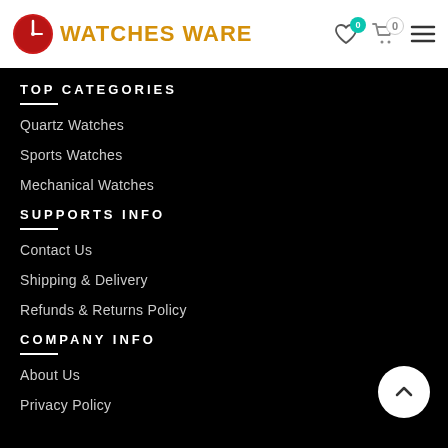WATCHES WARE
TOP CATEGORIES
Quartz Watches
Sports Watches
Mechanical Watches
SUPPORTS INFO
Contact Us
Shipping & Delivery
Refunds & Returns Policy
COMPANY INFO
About Us
Privacy Policy